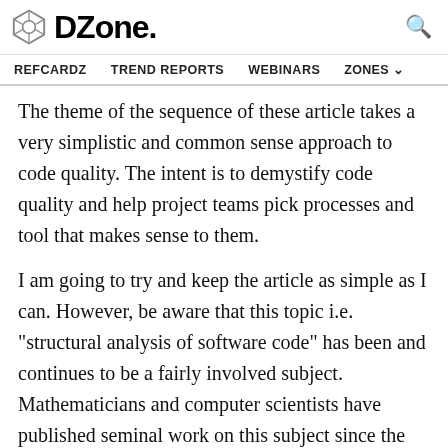DZone.
REFCARDZ   TREND REPORTS   WEBINARS   ZONES
The theme of the sequence of these article takes a very simplistic and common sense approach to code quality. The intent is to demystify code quality and help project teams pick processes and tool that makes sense to them.
I am going to try and keep the article as simple as I can. However, be aware that this topic i.e. "structural analysis of software code" has been and continues to be a fairly involved subject. Mathematicians and computer scientists have published seminal work on this subject since the 1970s.
Furthermore, excellent material is available...